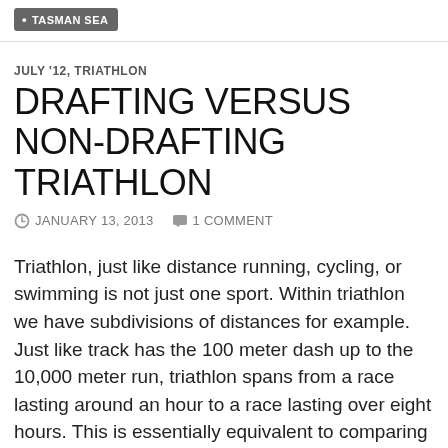TASMAN SEA
JULY '12, TRIATHLON
DRAFTING VERSUS NON-DRAFTING TRIATHLON
JANUARY 13, 2013   1 COMMENT
Triathlon, just like distance running, cycling, or swimming is not just one sport. Within triathlon we have subdivisions of distances for example. Just like track has the 100 meter dash up to the 10,000 meter run, triathlon spans from a race lasting around an hour to a race lasting over eight hours. This is essentially equivalent to comparing a 5k to a marathon or comparing the 1500 meter swim to a 10 kilometer swim. These